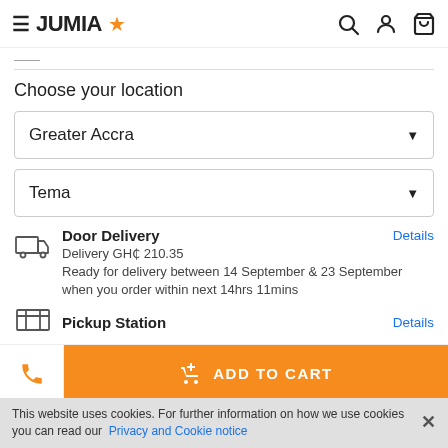JUMIA
Choose your location
Greater Accra
Tema
Door Delivery
Delivery GH¢ 210.35
Ready for delivery between 14 September & 23 September when you order within next 14hrs 11mins
Pickup Station
ADD TO CART
This website uses cookies. For further information on how we use cookies you can read our Privacy and Cookie notice